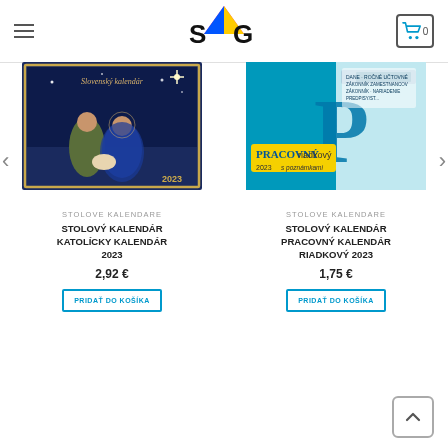[Figure (logo): SAG company logo with colorful pyramid]
[Figure (photo): Stolový kalendár - Katolícky kalendár 2023 product image showing nativity scene]
[Figure (photo): Stolový kalendár - Pracovný kalendár riadkový 2023 product image showing blue pen/calendar]
STOLOVE KALENDARE
STOLOVÝ KALENDÁR KATOLÍCKY KALENDÁR 2023
2,92 €
PRIDAŤ DO KOŠÍKA
STOLOVE KALENDARE
STOLOVÝ KALENDÁR PRACOVNÝ KALENDÁR RIADKOVÝ 2023
1,75 €
PRIDAŤ DO KOŠÍKA